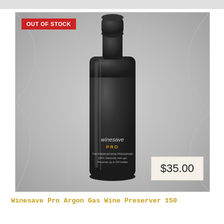[Figure (photo): A dark matte black cylindrical bottle of Winesave Pro Argon Gas Wine Preserver with an 'OUT OF STOCK' red badge in the top-left corner and a $35.00 price tag in the bottom-right corner.]
Winesave Pro Argon Gas Wine Preserver 150